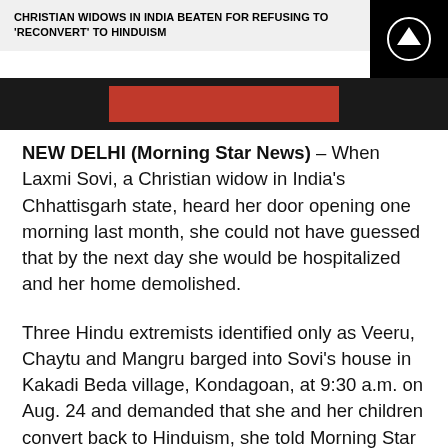CHRISTIAN WIDOWS IN INDIA BEATEN FOR REFUSING TO 'RECONVERT' TO HINDUISM
[Figure (photo): Image strip showing a dark banner with red and black colors, partially visible photograph]
NEW DELHI (Morning Star News) – When Laxmi Sovi, a Christian widow in India's Chhattisgarh state, heard her door opening one morning last month, she could not have guessed that by the next day she would be hospitalized and her home demolished.
Three Hindu extremists identified only as Veeru, Chaytu and Mangru barged into Sovi's house in Kakadi Beda village, Kondagoan, at 9:30 a.m. on Aug. 24 and demanded that she and her children convert back to Hinduism, she told Morning Star News. In spite of threats, she declined.
The three men left.